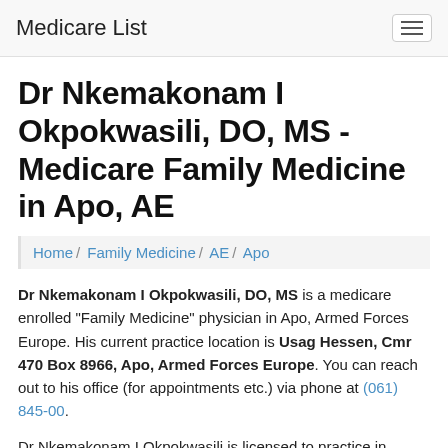Medicare List
Dr Nkemakonam I Okpokwasili, DO, MS - Medicare Family Medicine in Apo, AE
Home / Family Medicine / AE / Apo
Dr Nkemakonam I Okpokwasili, DO, MS is a medicare enrolled "Family Medicine" physician in Apo, Armed Forces Europe. His current practice location is Usag Hessen, Cmr 470 Box 8966, Apo, Armed Forces Europe. You can reach out to his office (for appointments etc.) via phone at (061) 845-00.
Dr Nkemakonam I Okpokwasili is licensed to practice in Michigan (license number 5101017536) and he also participates